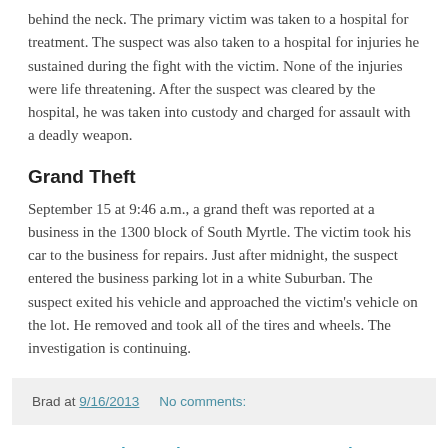behind the neck. The primary victim was taken to a hospital for treatment. The suspect was also taken to a hospital for injuries he sustained during the fight with the victim. None of the injuries were life threatening. After the suspect was cleared by the hospital, he was taken into custody and charged for assault with a deadly weapon.
Grand Theft
September 15 at 9:46 a.m., a grand theft was reported at a business in the 1300 block of South Myrtle. The victim took his car to the business for repairs. Just after midnight, the suspect entered the business parking lot in a white Suburban. The suspect exited his vehicle and approached the victim's vehicle on the lot. He removed and took all of the tires and wheels. The investigation is continuing.
Brad at 9/16/2013    No comments:
Gang Injunctions vs Gangs in Monrovia